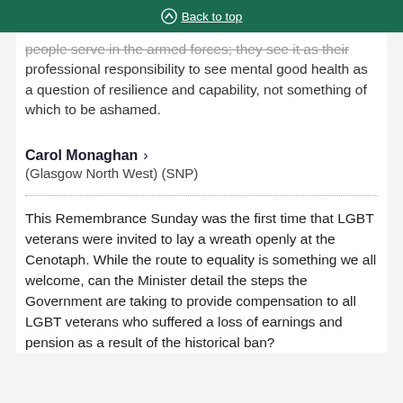Back to top
people serve in the armed forces; they see it as their professional responsibility to see mental good health as a question of resilience and capability, not something of which to be ashamed.
Carol Monaghan > (Glasgow North West) (SNP)
This Remembrance Sunday was the first time that LGBT veterans were invited to lay a wreath openly at the Cenotaph. While the route to equality is something we all welcome, can the Minister detail the steps the Government are taking to provide compensation to all LGBT veterans who suffered a loss of earnings and pension as a result of the historical ban?